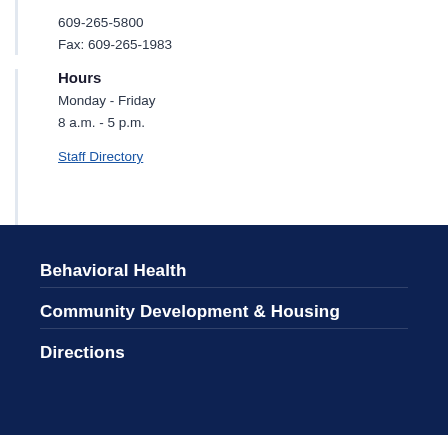609-265-5800
Fax: 609-265-1983
Hours
Monday - Friday
8 a.m. - 5 p.m.
Staff Directory
Behavioral Health
Community Development & Housing
Directions